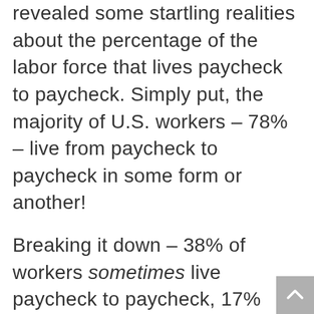revealed some startling realities about the percentage of the labor force that lives paycheck to paycheck. Simply put, the majority of U.S. workers – 78% – live from paycheck to paycheck in some form or another!
Breaking it down – 38% of workers sometimes live paycheck to paycheck, 17% usually live paycheck to paycheck, and 23% always live paycheck to paycheck. Meantime, 71% of U.S. workers are in debt, and 56% of those workers who are in debt believe that they will always be in debt. Even for those earning